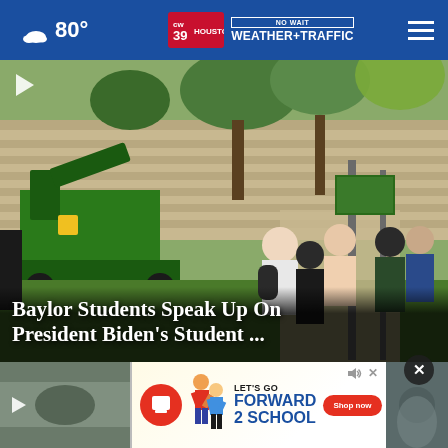80° | CW39 Houston NO WAIT WEATHER+TRAFFIC
[Figure (screenshot): Video thumbnail showing Baylor University students walking on campus with green equipment in foreground]
Baylor Students Speak Up On President Biden's Student ...
[Figure (screenshot): Second video thumbnail partially visible at bottom left]
[Figure (infographic): Advertisement: LET'S GO FORWARD 2 SCHOOL with Shop now button]